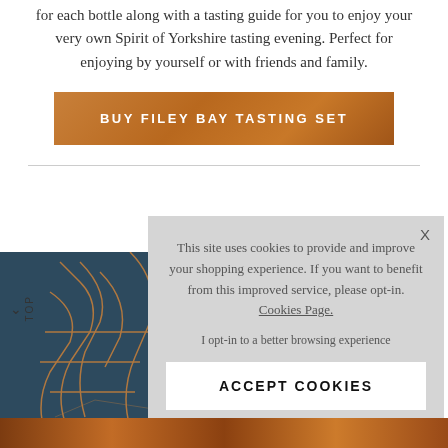for each bottle along with a tasting guide for you to enjoy your very own Spirit of Yorkshire tasting evening. Perfect for enjoying by yourself or with friends and family.
BUY FILEY BAY TASTING SET
[Figure (photo): Blue whisky box with copper/gold graphic art showing East Yorkshire coastline, partially visible]
TOP
This site uses cookies to provide and improve your shopping experience. If you want to benefit from this improved service, please opt-in. Cookies Page.
I opt-in to a better browsing experience
ACCEPT COOKIES